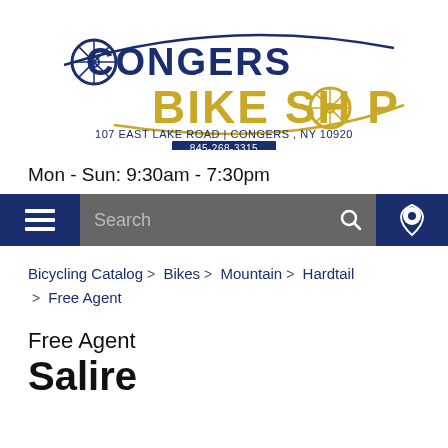[Figure (logo): Congers Bike Shop logo with bicycle wheel graphic, text 'CONGERS BIKE SHOP', address '107 East Lake Road | Congers, NY 10920' and phone '845-268-3315']
Mon - Sun: 9:30am - 7:30pm
[Figure (screenshot): Navigation bar with hamburger menu (dark blue), search field (gray) with search icon, and location pin icon (dark blue)]
Bicycling Catalog > Bikes > Mountain > Hardtail > Free Agent
Free Agent Salire